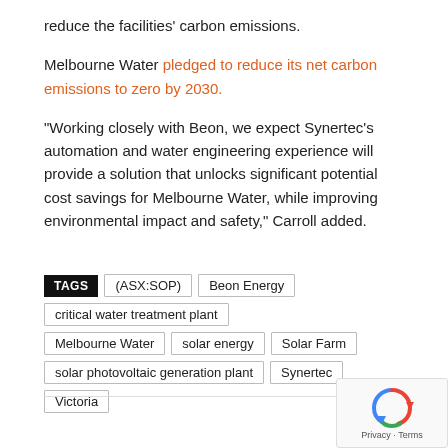reduce the facilities' carbon emissions.
Melbourne Water pledged to reduce its net carbon emissions to zero by 2030.
“Working closely with Beon, we expect Synertec’s automation and water engineering experience will provide a solution that unlocks significant potential cost savings for Melbourne Water, while improving environmental impact and safety,” Carroll added.
TAGS  (ASX:SOP)  Beon Energy  critical water treatment plant  Melbourne Water  solar energy  Solar Farm  solar photovoltaic generation plant  Synertec  Victoria